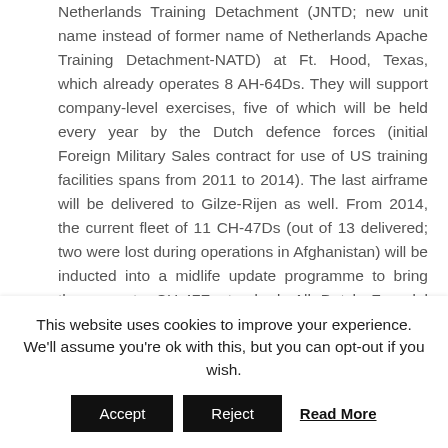Netherlands Training Detachment (JNTD; new unit name instead of former name of Netherlands Apache Training Detachment-NATD) at Ft. Hood, Texas, which already operates 8 AH-64Ds. They will support company-level exercises, five of which will be held every year by the Dutch defence forces (initial Foreign Military Sales contract for use of US training facilities spans from 2011 to 2014). The last airframe will be delivered to Gilze-Rijen as well. From 2014, the current fleet of 11 CH-47Ds (out of 13 delivered; two were lost during operations in Afghanistan) will be inducted into a midlife update programme to bring those up to CH-47F standard. All Dutch F-model Chinooks will get provisions for carrying a specialised SF kit of which four will be bought.
[Figure (other): Partially visible blurred image placeholder]
This website uses cookies to improve your experience. We'll assume you're ok with this, but you can opt-out if you wish.